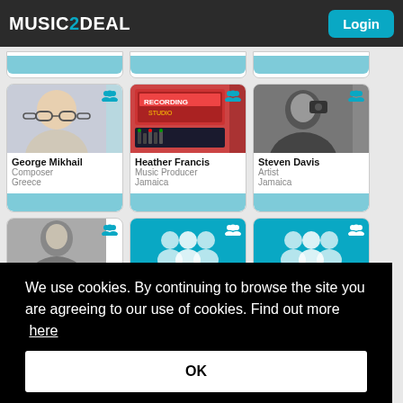MUSIC2DEAL  Login
[Figure (screenshot): Profile card for George Mikhail, Composer, Greece with photo of woman with glasses]
[Figure (screenshot): Profile card for Heather Francis, Music Producer, Jamaica with photo of recording studio]
[Figure (screenshot): Profile card for Steven Davis, Artist, Jamaica with black and white photo]
[Figure (screenshot): Partial bottom row of profile cards including a man's black and white photo and two teal group placeholder cards]
We use cookies. By continuing to browse the site you are agreeing to our use of cookies. Find out more here
OK